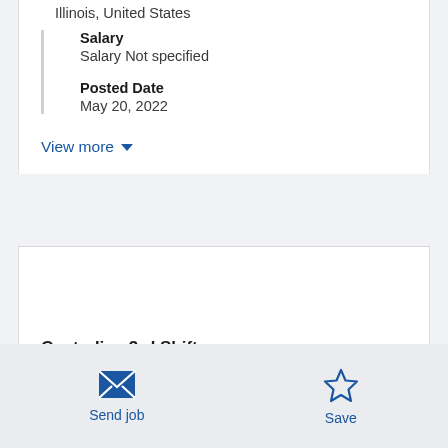Illinois, United States
Salary
Salary Not specified
Posted Date
May 20, 2022
View more
Custodian 3rd Shift
Send job
Save